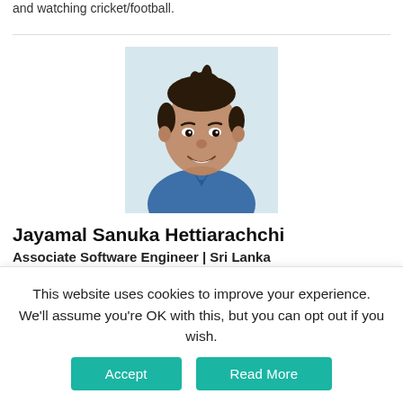and watching cricket/football.
[Figure (photo): Headshot photo of Jayamal Sanuka Hettiarachchi, a young man with dark spiky hair, smiling, wearing a blue shirt, light background]
Jayamal Sanuka Hettiarachchi
Associate Software Engineer | Sri Lanka
Jayamal is an undergraduate at the University of
This website uses cookies to improve your experience. We'll assume you're OK with this, but you can opt out if you wish.